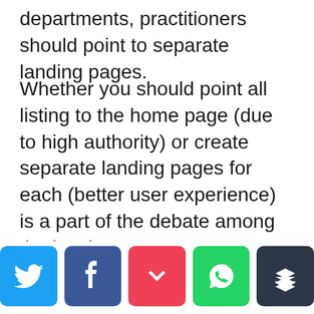departments, practitioners should point to separate landing pages.
Whether you should point all listing to the home page (due to high authority) or create separate landing pages for each (better user experience) is a part of the debate among the local SEO experts.
You have a little scope here for experiments because you need to keep
[Figure (infographic): Social share buttons row: Twitter (blue bird), Facebook (blue f), Pocket (red heart/chevron), WhatsApp (green phone), Buffer (dark stacked layers icon)]